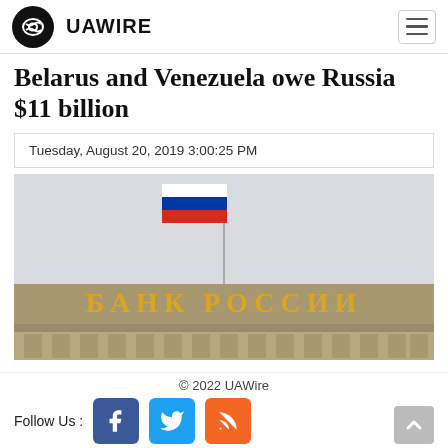UAWIRE
Belarus and Venezuela owe Russia $11 billion
Tuesday, August 20, 2019 3:00:25 PM
[Figure (photo): Photo of the Bank of Russia (Банк России) building facade with Russian flag flying above it.]
© 2022 UAWire
Follow Us :